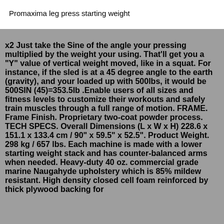Promaxima leg press starting weight
x2 Just take the Sine of the angle your pressing multiplied by the weight your using. That'll get you a "Y" value of vertical weight moved, like in a squat. For instance, if the sled is at a 45 degree angle to the earth (gravity), and your loaded up with 500lbs, it would be 500SIN (45)=353.5lb .Enable users of all sizes and fitness levels to customize their workouts and safely train muscles through a full range of motion. FRAME. Frame Finish. Proprietary two-coat powder process. TECH SPECS. Overall Dimensions (L x W x H) 228.6 x 151.1 x 133.4 cm / 90” x 59.5” x 52.5”. Product Weight. 298 kg / 657 lbs. Each machine is made with a lower starting weight stack and has counter-balanced arms when needed. Heavy-duty 40 oz. commercial grade marine Naugahyde upholstery which is 85% mildew resistant. High density closed cell foam reinforced by thick plywood backing for